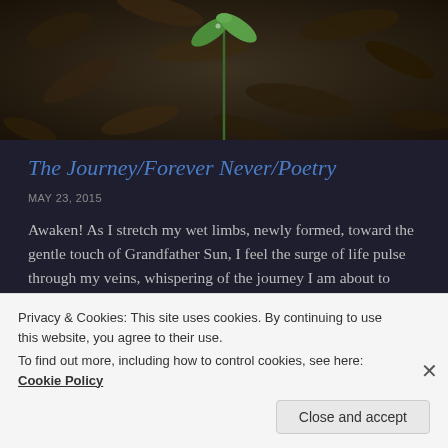[Figure (photo): A small green seedling sprouting from dark leaf-covered ground, photographed from above. Dark, moody nature photo.]
The Journey/Forever Never/Poetry
MAY 23, 2015
Awaken! As I stretch my wet limbs, newly formed, toward the gentle touch of Grandfather Sun, I feel the surge of life pulse through my veins, whispering of the journey I am about to take. Song of truth, voice of … Continue reading
Privacy & Cookies: This site uses cookies. By continuing to use this website, you agree to their use.
To find out more, including how to control cookies, see here: Cookie Policy
Close and accept